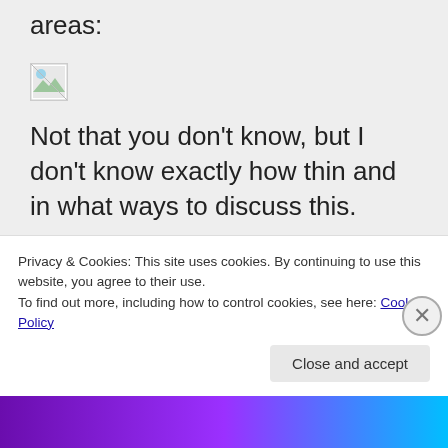areas:
[Figure (photo): Broken/missing image placeholder (small icon with landscape thumbnail)]
Not that you don't know, but I don't know exactly how thin and in what ways to discuss this.
Also check your water for heavy metals, minerals, etc, again, there can be things in
Privacy & Cookies: This site uses cookies. By continuing to use this website, you agree to their use.
To find out more, including how to control cookies, see here: Cookie Policy
Close and accept